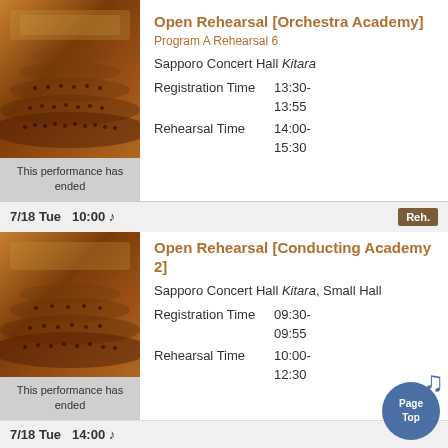[Figure (photo): Concert hall interior with orchestra seating, warm orange/brown tones]
This performance has ended
Open Rehearsal [Orchestra Academy]
Program A Rehearsal 6
Sapporo Concert Hall Kitara
Registration Time   13:30-
13:55
Rehearsal Time   14:00-
15:30
7/18 Tue  10:00
[Figure (photo): Concert hall interior with orchestra seating, warm orange/brown tones]
This performance has ended
Open Rehearsal [Conducting Academy 2]
Sapporo Concert Hall Kitara, Small Hall
Registration Time   09:30-
09:55
Rehearsal Time   10:00-
12:30
7/18 Tue  14:00
[Figure (photo): Concert hall interior with orchestra seating, warm orange/brown tones]
Open Rehearsal [Conducting Academy 2]